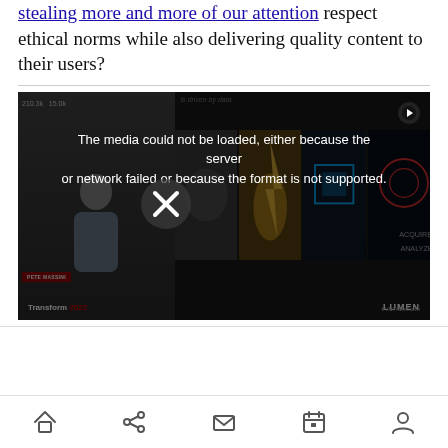stealing more and more of our attention respect ethical norms while also delivering quality content to their users?
[Figure (screenshot): Embedded video player showing a media error message: 'The media could not be loaded, either because the server or network failed or because the format is not supported.' Background shows a video conference with a person on the left and technology-themed image panels (ELECTRICITY, PROCESSING, DATA) on the right with LUMEN branding and Transform 2022 text.]
Home Share Mail Calendar Profile navigation icons